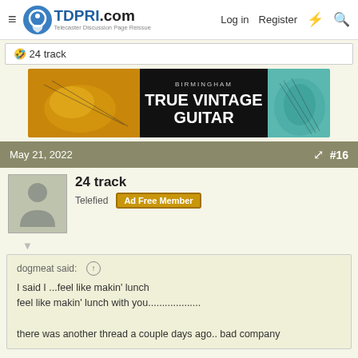TDPRI.com Telecaster Discussion Page Reissue | Log in | Register
🤣 24 track
[Figure (other): Birmingham True Vintage Guitar advertisement banner with guitar images]
May 21, 2022    #16
24 track
Telefied   Ad Free Member
dogmeat said:
I said I ...feel like makin' lunch
feel like makin' lunch with you...................

there was another thread a couple days ago.. bad company
very creative , I like that!